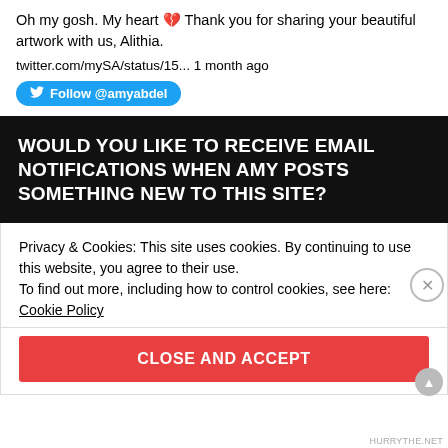Oh my gosh. My heart 💔 Thank you for sharing your beautiful artwork with us, Alithia.
twitter.com/mySA/status/15... 1 month ago
Follow @amyabdel
WOULD YOU LIKE TO RECEIVE EMAIL NOTIFICATIONS WHEN AMY POSTS SOMETHING NEW TO THIS SITE?
Privacy & Cookies: This site uses cookies. By continuing to use this website, you agree to their use.
To find out more, including how to control cookies, see here: Cookie Policy
CLOSE AND ACCEPT